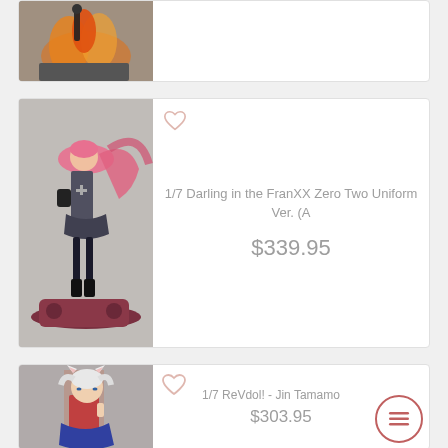[Figure (photo): Partially visible anime figure product card at top - fire themed figure with black character and orange flames on a rocky base]
[Figure (photo): Anime figure of Zero Two from Darling in the FranXX in school uniform with pink hair, standing on a pink mechanical base]
1/7 Darling in the FranXX Zero Two Uniform Ver. (A
$339.95
[Figure (photo): Anime figure of Tamamo from ReVdol! - a cat-eared girl in red and blue outfit with white hair]
1/7 ReVdol! - Jin Tamamo
$303.95